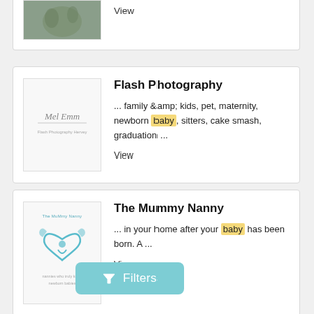[Figure (photo): Partial card at top showing a photo thumbnail and 'View' link]
View
Flash Photography
... family &amp; kids, pet, maternity, newborn baby, sitters, cake smash, graduation ...
View
The Mummy Nanny
... in your home after your baby has been born. A ...
Vie...
Filters